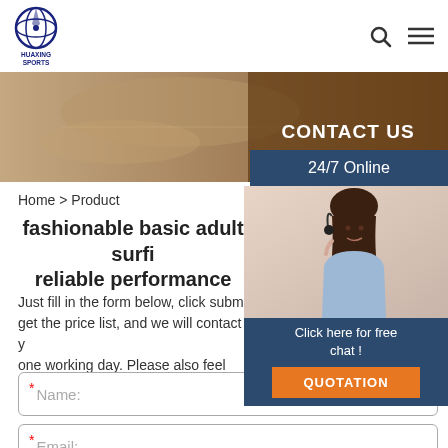[Figure (logo): HUAXING SPORTS logo — circular emblem with globe/star design in navy blue]
[Figure (photo): Banner showing hands together over documents, warm brown/tan tone with CONTACT US text overlay]
24/7 Online
Home > Product
fashionable basic adult surfi reliable performance
Just fill in the form below, click submit get the price list, and we will contact y one working day. Please also feel free us via email or phone. (* is required).
[Figure (photo): Customer service representative smiling with headset]
Click here for free chat !
QUOTATION
* Name:
* Email:
Please Enter Other Contact Information
Whatsapp
Wechat
Skype